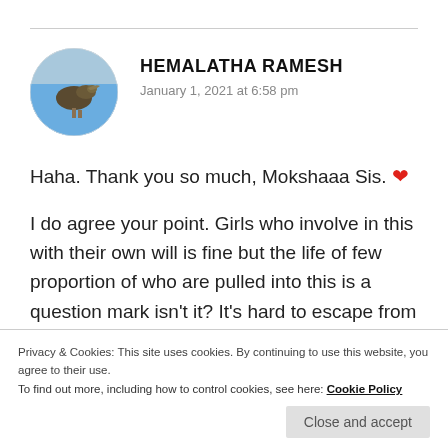[Figure (photo): Circular avatar photo of Hemalatha Ramesh showing a bird against a blue sky background]
HEMALATHA RAMESH
January 1, 2021 at 6:58 pm
Haha. Thank you so much, Mokshaaa Sis. ❤
I do agree your point. Girls who involve in this with their own will is fine but the life of few proportion of who are pulled into this is a question mark isn't it? It's hard to escape from
Privacy & Cookies: This site uses cookies. By continuing to use this website, you agree to their use.
To find out more, including how to control cookies, see here: Cookie Policy
Close and accept
Liked by 1 person